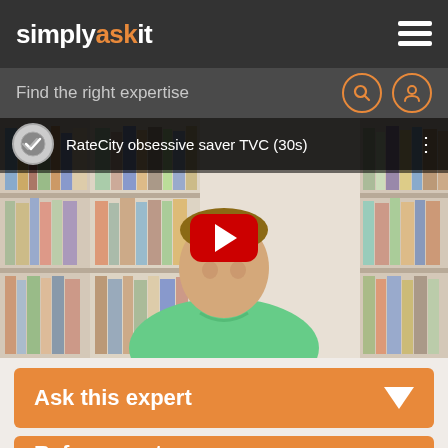simplyaskit
Find the right expertise
[Figure (screenshot): YouTube video thumbnail showing a man in a green polo shirt in front of a bookshelf, with the title 'RateCity obsessive saver TVC (30s)' and a red YouTube play button overlay]
Ask this expert
Refer expert